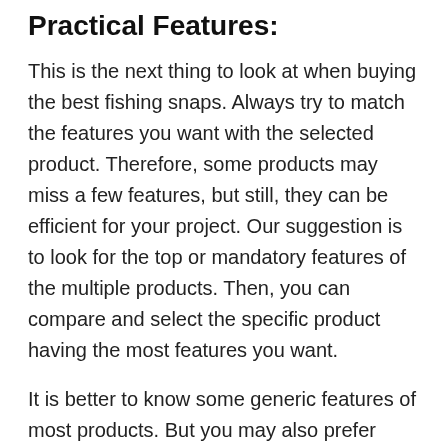Practical Features:
This is the next thing to look at when buying the best fishing snaps. Always try to match the features you want with the selected product. Therefore, some products may miss a few features, but still, they can be efficient for your project. Our suggestion is to look for the top or mandatory features of the multiple products. Then, you can compare and select the specific product having the most features you want.
It is better to know some generic features of most products. But you may also prefer extra or unique features for better satisfaction. Thus, we have focused on top practical features in this review list with correct details. Now, save your time and enjoy